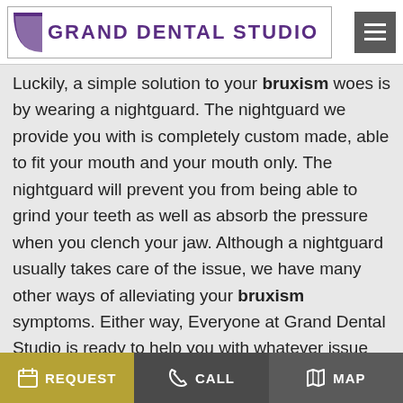GRAND DENTAL STUDIO
Luckily, a simple solution to your bruxism woes is by wearing a nightguard. The nightguard we provide you with is completely custom made, able to fit your mouth and your mouth only. The nightguard will prevent you from being able to grind your teeth as well as absorb the pressure when you clench your jaw. Although a nightguard usually takes care of the issue, we have many other ways of alleviating your bruxism symptoms. Either way, Everyone at Grand Dental Studio is ready to help you with whatever issue you need, as long as it results in a healthy, beautiful smile!
REQUEST   CALL   MAP